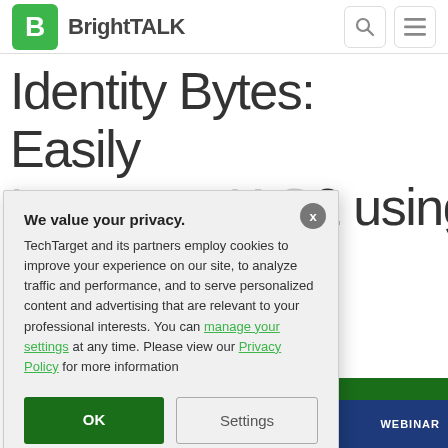BrightTALK
Identity Bytes: Easily ... 2 using ... ons
We value your privacy.
TechTarget and its partners employ cookies to improve your experience on our site, to analyze traffic and performance, and to serve personalized content and advertising that are relevant to your professional interests. You can manage your settings at any time. Please view our Privacy Policy for more information